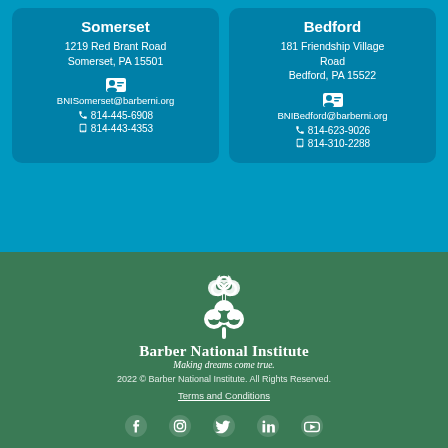Somerset
1219 Red Brant Road
Somerset, PA 15501
BNISomerset@barberni.org
814-445-6908
814-443-4353
Bedford
181 Friendship Village Road
Bedford, PA 15522
BNIBedford@barberni.org
814-623-9026
814-310-2288
[Figure (logo): Barber National Institute logo with shamrock/clover icon]
Barber National Institute
Making dreams come true.
2022 © Barber National Institute. All Rights Reserved.
Terms and Conditions
[Figure (infographic): Social media icons: Facebook, Instagram, Twitter, LinkedIn, YouTube]